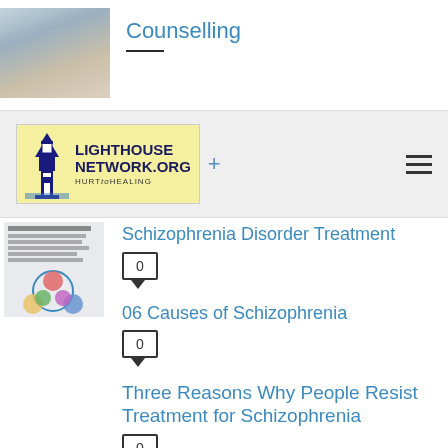Counselling
[Figure (photo): Navigation bar with Lighthouse Network logo (LIGHTHOUSENETWORK.ORG - HURT to HEALING) on yellow background, and hamburger menu icon]
Schizophrenia Disorder Treatment
0
06 Causes of Schizophrenia
0
Three Reasons Why People Resist Treatment for Schizophrenia
0